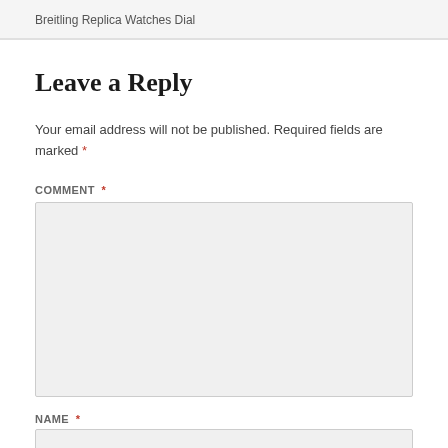Breitling Replica Watches Dial
Leave a Reply
Your email address will not be published. Required fields are marked *
COMMENT *
NAME *